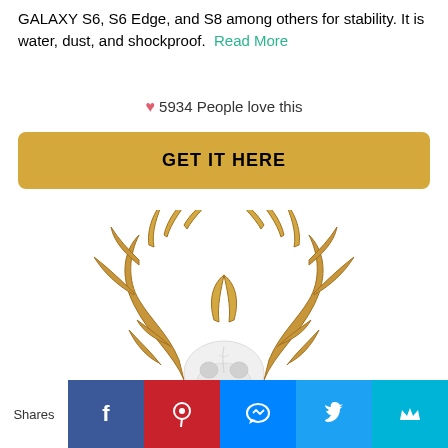GALAXY S6, S6 Edge, and S8 among others for stability. It is water, dust, and shockproof.  Read More
♥ 5934 People love this
GET IT HERE
[Figure (photo): Decorative deer skull with gold antlers on white background]
Shares [Facebook] [Pinterest] [Messenger] [Twitter] [Crown/Flipboard]